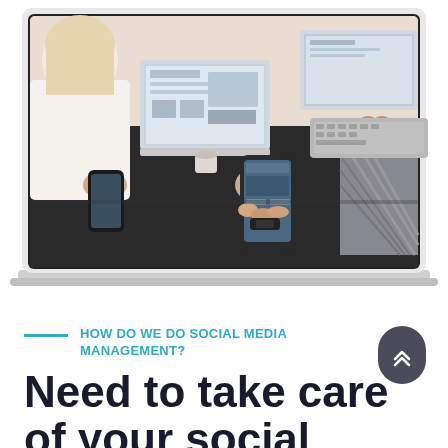[Figure (photo): Aerial view of people sitting around a dark table working on laptops and smartphones, shown inside a laptop screen/frame mockup. Background is white.]
HOW DO WE DO SOCIAL MEDIA MANAGEMENT?
Need to take care of your social media? Get a